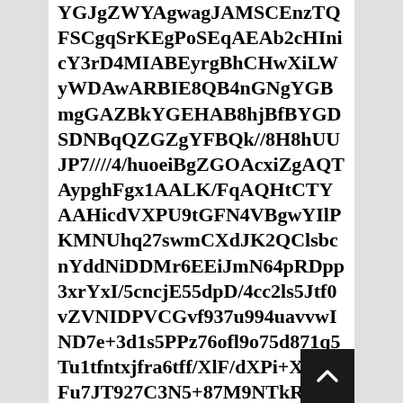YGJgZWYAgwagJAMSCEnzTQFSCgqSrKEgPoSEqAEAb2cHInicY3rD4MIABEyrgBhCHwXiLWyWDAwARBIE8QB4nGNgYGBmgGAZBkYGEHAB8hjBfBYGDSDNBqQZGZgYFBQk//8H8hUUJP7////4/huoeiBgZGOAcxiZgAQTAypghFgx1AALK/FqAQHtCTYAAHicdVXPU9tGFN4VBgwYIlPKMNUhq27swmCXdJK2QClsbcnYddNiDDMr6EEiJmN64pRDpp3xrYxI/5cncjE55dpD/4cc2ls5Jtf0vZVNIDPVCGvf937u994uavvwIND7e+3d1s5PPz76ofl9o75d871q5Tu1tfntxjfra6tff/XlF/dXPi+XFj8rFu7JT927C3N5+87M9NTkRHZ8bDQzYnFWEsBDH0YKIl+LpC+jerkk/IWuVy75shaCiATgJ1OU9bqBZAQiFFDET3QDDkGh5ZMPLFVqqa4tuS022AalkAL+8qTo84OWxvUfngwEXJn1I7POFI0wjYLrooepiqoVPtSedmM/xBp5MiVZldXjvXKJJZNTuJzCFSzK0